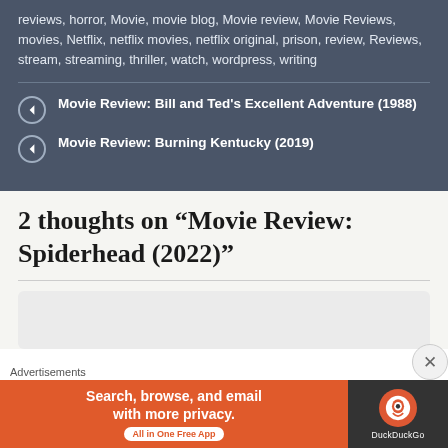reviews, horror, Movie, movie blog, Movie review, Movie Reviews, movies, Netflix, netflix movies, netflix original, prison, review, Reviews, stream, streaming, thriller, watch, wordpress, writing
Movie Review: Bill and Ted's Excellent Adventure (1988)
Movie Review: Burning Kentucky (2019)
2 thoughts on “Movie Review: Spiderhead (2022)”
[Figure (other): Advertisement banner for DuckDuckGo with text: Search, browse, and email with more privacy. All in One Free App. DuckDuckGo logo on the right.]